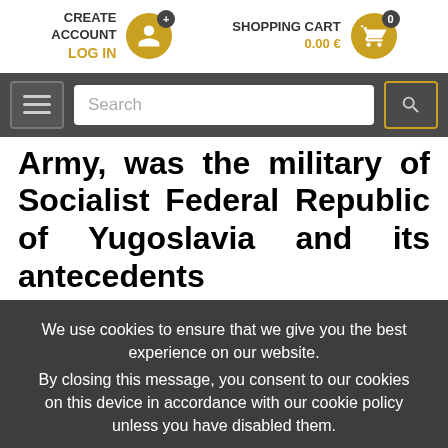CREATE ACCOUNT  LOG IN   SHOPPING CART  0.00 €
[Figure (screenshot): Navigation bar with hamburger menu, search box, and search button on dark background]
Army, was the military of Socialist Federal Republic of Yugoslavia and its antecedents from 1945–1991 and beyond
We use cookies to ensure that we give you the best experience on our website.
By closing this message, you consent to our cookies on this device in accordance with our cookie policy unless you have disabled them.
I Agree!